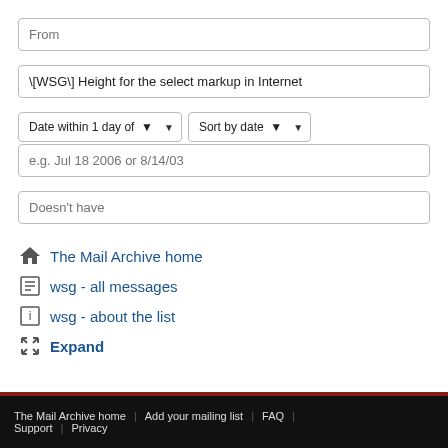From (placeholder input field)
\[WSG\] Height for the select markup in Internet (input field)
Date within 1 day of | Sort by date (dropdowns)
e.g. Jul 18 2006 or 8/14/03 (date input field)
Doesn't have (input field)
The Mail Archive home
wsg - all messages
wsg - about the list
Expand
The Mail Archive home | Add your mailing list | FAQ | Support | Privacy